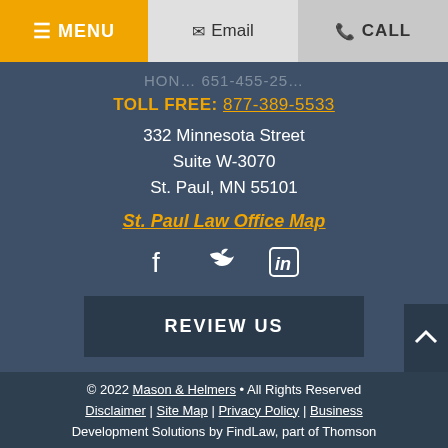≡ MENU | ✉ Email | ☎ CALL
TOLL FREE: 877-389-5533
332 Minnesota Street
Suite W-3070
St. Paul, MN 55101
St. Paul Law Office Map
[Figure (other): Social media icons: Facebook, Twitter, LinkedIn]
REVIEW US
© 2022 Mason & Helmers • All Rights Reserved
Disclaimer | Site Map | Privacy Policy | Business Development Solutions by FindLaw, part of Thomson